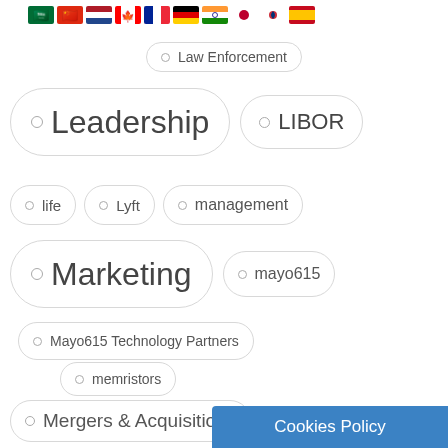[Figure (illustration): Row of country flag emoji icons: Saudi Arabia, China, Netherlands, Canada, France, Germany, India, Japan, South Korea, Spain]
Law Enforcement
Leadership
LIBOR
life
Lyft
management
Marketing
mayo615
Mayo615 Technology Partners
memristors
Mergers & Acquisitions
Mobile
Cookies Policy